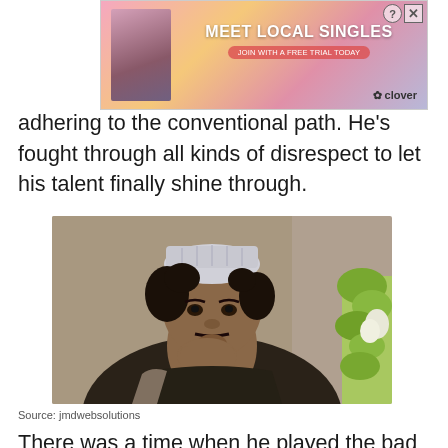[Figure (other): Advertisement banner for Clover dating app 'MEET LOCAL SINGLES' with photo of woman, pink/orange gradient background]
adhering to the conventional path. He's fought through all kinds of disrespect to let his talent finally shine through.
[Figure (photo): Photo of an Indian man wearing a white Islamic prayer cap (taqiyah), dark shirt, resting his hand under his chin thoughtfully, with green plants visible on the right side]
Source: jmdwebsolutions
There was a time when he played the bad guy in a